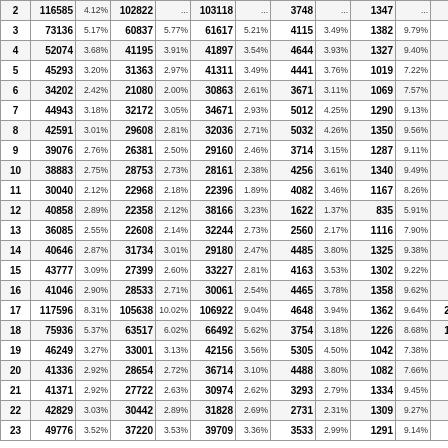| # | Col1 | % | Col2 | % | Col3 | % | Col4 | % | Col5 | % | Col6 |
| --- | --- | --- | --- | --- | --- | --- | --- | --- | --- | --- | --- |
| 2 | 116585 | 4.12% | 102822 | ...% | 103118 | ...% | 3748 | ...% | 1347 | ...% | ... |
| 3 | 73136 | 5.17% | 60837 | 5.77% | 61617 | 5.21% | 4115 | 3.49% | 1382 | 9.79% | 69 |
| 4 | 52074 | 3.68% | 41195 | 3.91% | 41897 | 3.54% | 4644 | 3.93% | 1327 | 9.40% | 26 |
| 5 | 45293 | 3.20% | 31363 | 2.97% | 41311 | 3.49% | 4441 | 3.76% | 1019 | 7.22% | 19 |
| 6 | 34202 | 2.42% | 21080 | 2.00% | 30863 | 2.61% | 3671 | 3.11% | 1069 | 7.57% | 14 |
| 7 | 44943 | 3.18% | 32172 | 3.05% | 34671 | 2.93% | 5012 | 4.25% | 1290 | 9.13% | 21 |
| 8 | 42591 | 3.01% | 29608 | 2.81% | 32036 | 2.71% | 5032 | 4.26% | 1350 | 9.56% | 18 |
| 9 | 39076 | 2.76% | 26381 | 2.50% | 29160 | 2.46% | 3714 | 3.15% | 1287 | 9.11% | 16 |
| 10 | 38883 | 2.75% | 28753 | 2.73% | 28161 | 2.38% | 4256 | 3.61% | 1340 | 9.49% | 21 |
| 11 | 30040 | 2.12% | 22968 | 2.18% | 22396 | 1.89% | 4082 | 3.46% | 1167 | 8.26% | 17 |
| 12 | 40858 | 2.89% | 22358 | 2.12% | 38166 | 3.23% | 1622 | 1.37% | 835 | 5.91% | 15 |
| 13 | 36085 | 2.55% | 22608 | 2.14% | 32244 | 2.73% | 2560 | 2.17% | 1116 | 7.90% | 14 |
| 14 | 40646 | 2.87% | 31734 | 3.01% | 29180 | 2.47% | 4485 | 3.80% | 1325 | 9.38% | 21 |
| 15 | 43777 | 3.09% | 27399 | 2.60% | 33227 | 2.81% | 4163 | 3.53% | 1302 | 9.22% | 16 |
| 16 | 41046 | 2.90% | 28533 | 2.71% | 30061 | 2.54% | 4465 | 3.78% | 1358 | 9.62% | 16 |
| 17 | 117596 | 8.31% | 105638 | 10.02% | 106922 | 9.04% | 4648 | 3.94% | 1362 | 9.64% | 286 |
| 18 | 75936 | 5.37% | 63517 | 6.02% | 66492 | 5.62% | 3754 | 3.18% | 1226 | 8.68% | 100 |
| 19 | 46249 | 3.27% | 33001 | 3.13% | 42156 | 3.56% | 5305 | 4.50% | 1042 | 7.38% | 21 |
| 20 | 41336 | 2.92% | 28654 | 2.72% | 36714 | 3.10% | 4488 | 3.80% | 1082 | 7.66% | 19 |
| 21 | 41371 | 2.92% | 27722 | 2.63% | 30974 | 2.62% | 3293 | 2.79% | 1334 | 9.45% | 17 |
| 22 | 42829 | 3.03% | 30442 | 2.89% | 31828 | 2.69% | 2731 | 2.31% | 1309 | 9.27% | 19 |
| 23 | 49776 | 3.52% | 37220 | 3.53% | 39709 | 3.36% | 3533 | 2.99% | 1291 | 9.14% | 22 |